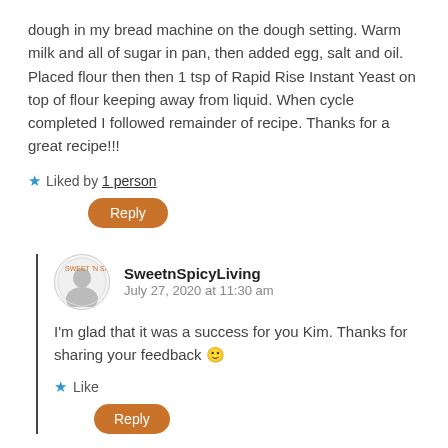dough in my bread machine on the dough setting. Warm milk and all of sugar in pan, then added egg, salt and oil. Placed flour then then 1 tsp of Rapid Rise Instant Yeast on top of flour keeping away from liquid. When cycle completed I followed remainder of recipe. Thanks for a great recipe!!!
Liked by 1 person
Reply
SweetnSpicyLiving
July 27, 2020 at 11:30 am
I'm glad that it was a success for you Kim. Thanks for sharing your feedback 🙂
Like
Reply